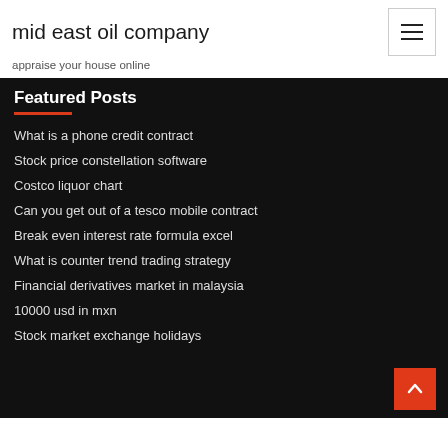mid east oil company
appraise your house online
Featured Posts
What is a phone credit contract
Stock price constellation software
Costco liquor chart
Can you get out of a tesco mobile contract
Break even interest rate formula excel
What is counter trend trading strategy
Financial derivatives market in malaysia
10000 usd in mxn
Stock market exchange holidays